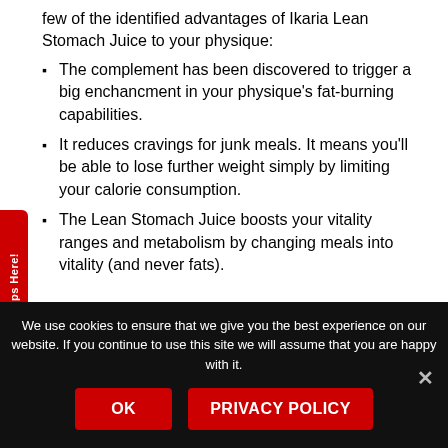few of the identified advantages of Ikaria Lean Stomach Juice to your physique:
The complement has been discovered to trigger a big enchancment in your physique's fat-burning capabilities.
It reduces cravings for junk meals. It means you'll be able to lose further weight simply by limiting your calorie consumption.
The Lean Stomach Juice boosts your vitality ranges and metabolism by changing meals into vitality (and never fats).
E Weight Loss Tips Here!
We use cookies to ensure that we give you the best experience on our website. If you continue to use this site we will assume that you are happy with it.
OK
PRIVACY POLICY